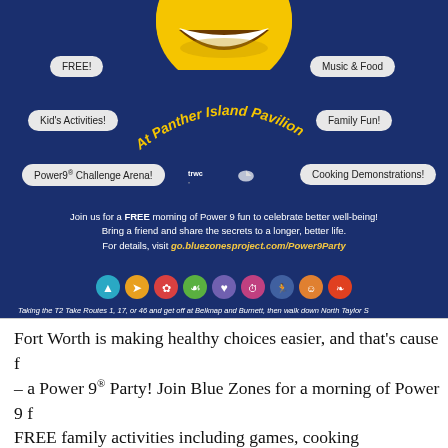[Figure (infographic): Blue Zones Power 9 Party promotional poster with dark blue background, smiley face, speech bubbles for FREE, Music & Food, Kid's Activities, Family Fun!, Power9 Challenge Arena!, Cooking Demonstrations!, trwc logos, body text about the event, icon row, transit info, and sponsor logos including Texas Health Resources, BlueCross BlueShield of Texas, The Ryan Foundation, BNSF, Cook Children's]
Fort Worth is making healthy choices easier, and that's cause f– a Power 9® Party! Join Blue Zones for a morning of Power 9 fFREE family activities including games, cooking demonstratiomusic, free food, giveaways, and more as we celebrate bett